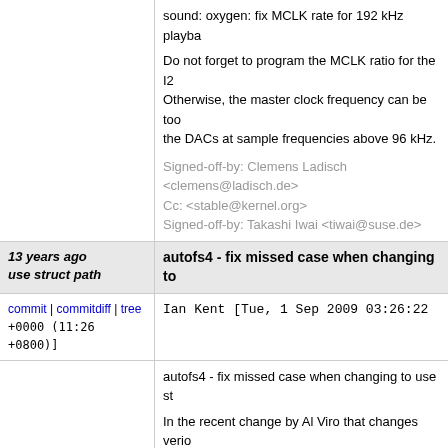sound: oxygen: fix MCLK rate for 192 kHz playback

Do not forget to program the MCLK ratio for the I2... Otherwise, the master clock frequency can be too... the DACs at sample frequencies above 96 kHz.

Signed-off-by: Clemens Ladisch <clemens@ladisch.de>
Cc: <stable@kernel.org>
Signed-off-by: Takashi Iwai <tiwai@suse.de>
13 years ago autofs4 - fix missed case when changing to use struct path
commit | commitdiff | tree
Ian Kent [Tue, 1 Sep 2009 03:26:22 +0000 (11:26 +0800)]
autofs4 - fix missed case when changing to use struct path

In the recent change by Al Viro that changes verio... to use "struct path" one case was missed in the au... which causes mounts to no longer expire.

Signed-off-by: Ian Kent <raven@themaw.net>
Signed-off-by: Linus Torvalds <torvalds@linux-foundation.org>
13 years ago Merge branch 'fix/hda' of git://git.kernel.org/pub/scm/linux/kernel/git/tiwai/sound-2.6